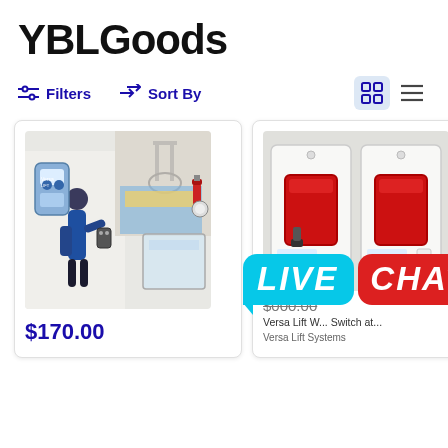YBLGoods
Filters  Sort By
[Figure (photo): Product listing image of a Versa Lift garage storage lift system with remote control, shown in a garage setting with a man operating it, and a transparent storage container]
$170.00
[Figure (photo): Product listing image of two Versa Lift wall switch panels with red buttons on white wall plates]
$000.00 (price obscured by Live Chat overlay)
Versa Lift Wall... Switch at...
Versa Lift Systems
[Figure (other): LIVE CHAT promotional overlay banner in cyan and red speech bubbles]